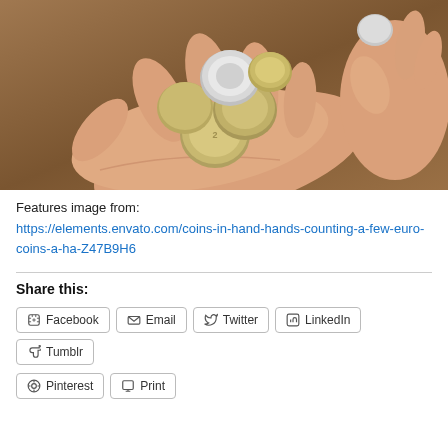[Figure (photo): Hands holding several euro coins, counting money, on a wooden background]
Features image from:
https://elements.envato.com/coins-in-hand-hands-counting-a-few-euro-coins-a-ha-Z47B9H6
Share this:
Facebook
Email
Twitter
LinkedIn
Tumblr
Pinterest
Print